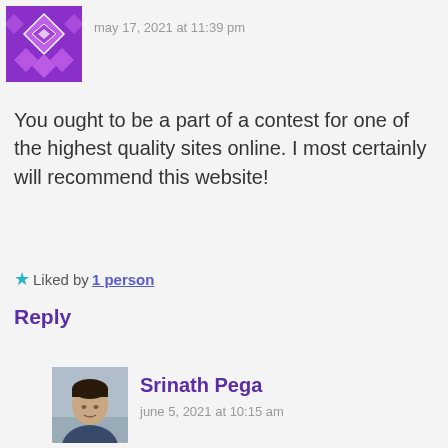[Figure (illustration): Purple geometric/diamond pattern avatar icon for first commenter]
may 17, 2021 at 11:39 pm
You ought to be a part of a contest for one of the highest quality sites online. I most certainly will recommend this website!
★ Liked by 1 person
Reply
[Figure (photo): Photo of Srinath Pega, a young man]
Srinath Pega
june 5, 2021 at 10:15 am
Thank You!
★ Like
Reply